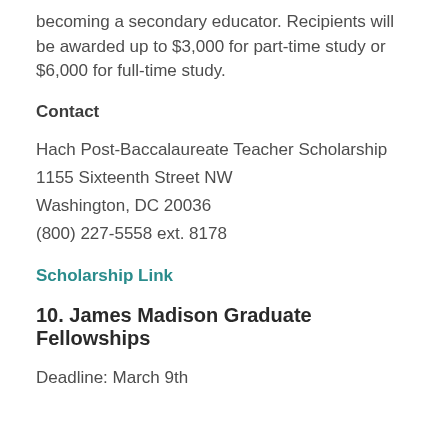becoming a secondary educator. Recipients will be awarded up to $3,000 for part-time study or $6,000 for full-time study.
Contact
Hach Post-Baccalaureate Teacher Scholarship
1155 Sixteenth Street NW
Washington, DC 20036
(800) 227-5558 ext. 8178
Scholarship Link
10. James Madison Graduate Fellowships
Deadline: March 9th